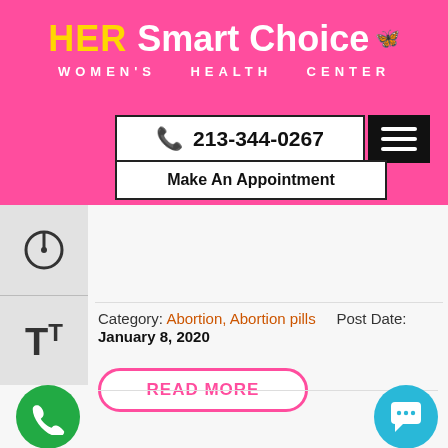HER Smart Choice WOMEN'S HEALTH CENTER
213-344-0267
Make An Appointment
Category: Abortion, Abortion pills   Post Date: January 8, 2020
READ MORE